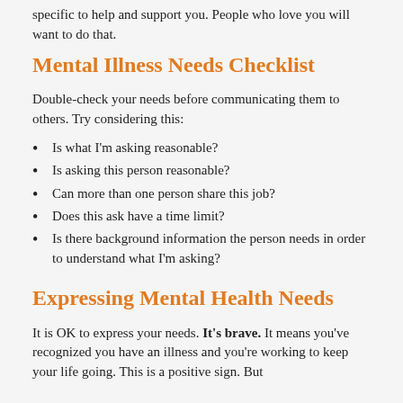specific to help and support you. People who love you will want to do that.
Mental Illness Needs Checklist
Double-check your needs before communicating them to others. Try considering this:
Is what I'm asking reasonable?
Is asking this person reasonable?
Can more than one person share this job?
Does this ask have a time limit?
Is there background information the person needs in order to understand what I'm asking?
Expressing Mental Health Needs
It is OK to express your needs. It's brave. It means you've recognized you have an illness and you're working to keep your life going. This is a positive sign. But